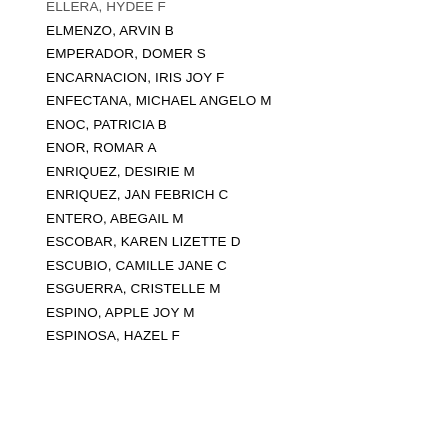ELLERA, HYDEE F
ELMENZO, ARVIN B
EMPERADOR, DOMER S
ENCARNACION, IRIS JOY F
ENFECTANA, MICHAEL ANGELO M
ENOC, PATRICIA B
ENOR, ROMAR A
ENRIQUEZ, DESIRIE M
ENRIQUEZ, JAN FEBRICH C
ENTERO, ABEGAIL M
ESCOBAR, KAREN LIZETTE D
ESCUBIO, CAMILLE JANE C
ESGUERRA, CRISTELLE M
ESPINO, APPLE JOY M
ESPINOSA, HAZEL F